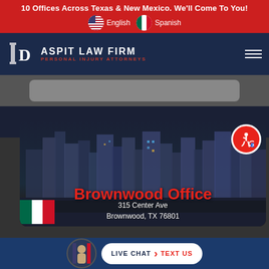10 Offices Across Texas & New Mexico. We'll Come To You!
English | Spanish
[Figure (logo): Daspit Law Firm – Personal Injury Attorneys logo with column icon]
[Figure (screenshot): Brownwood city skyline background with office card overlay showing: Brownwood Office, 315 Center Ave, Brownwood, TX 76801]
Brownwood Office
315 Center Ave
Brownwood, TX 76801
LIVE CHAT  TEXT US